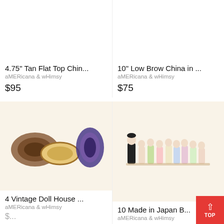[Figure (photo): Partial view of tan flat top china doll feet on cream background]
4.75" Tan Flat Top Chin...
aMERicana & wHimsy
$95
[Figure (photo): Partial view of 10 inch Low Brow China doll in dark dress on cream background]
10" Low Brow China in ...
aMERicana & wHimsy
$75
[Figure (photo): 4 vintage doll house oval braided rugs on cream background]
4 Vintage Doll House ...
aMERicana & wHimsy
[Figure (photo): 10 Made in Japan bisque doll figurines lined up on cream background]
10 Made in Japan B...
aMERicana & wHimsy